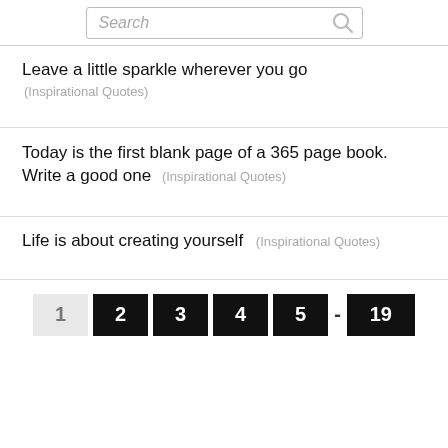Search
Leave a little sparkle wherever you go (Inspirational Quotes)
Today is the first blank page of a 365 page book. Write a good one (Inspirational Quotes)
Life is about creating yourself (Inspirational Quotes)
1  2  3  4  5  -  19